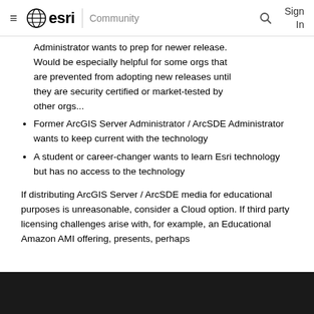≡ esri | Community  🔍  Sign In
Administrator wants to prep for newer release. Would be especially helpful for some orgs that are prevented from adopting new releases until they are security certified or market-tested by other orgs...
Former ArcGIS Server Administrator / ArcSDE Administrator wants to keep current with the technology
A student or career-changer wants to learn Esri technology but has no access to the technology
If distributing ArcGIS Server / ArcSDE media for educational purposes is unreasonable, consider a Cloud option. If third party licensing challenges arise with, for example, an Educational Amazon AMI offering, presents, perhaps